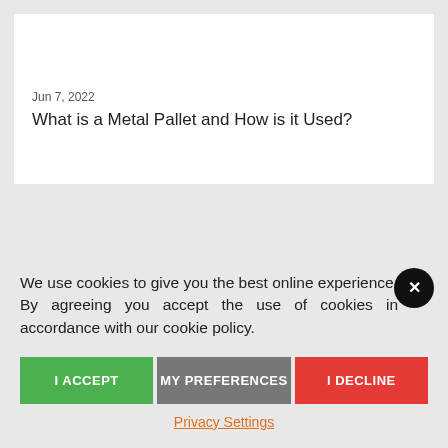Jun 7, 2022
What is a Metal Pallet and How is it Used?
We use cookies to give you the best online experience. By agreeing you accept the use of cookies in accordance with our cookie policy.
I ACCEPT
MY PREFERENCES
I DECLINE
Privacy Settings